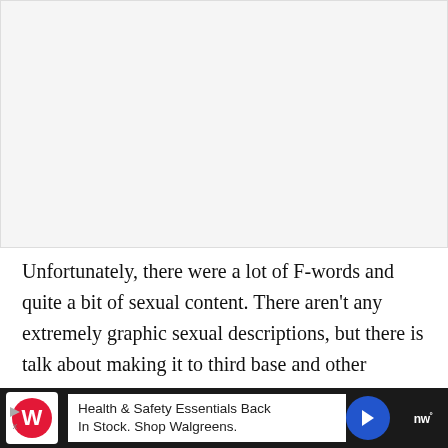[Figure (other): Blank/empty image placeholder area with light gray background]
Unfortunately, there were a lot of F-words and quite a bit of sexual content. There aren't any extremely graphic sexual descriptions, but there is talk about making it to third base and other general sexual
[Figure (other): Advertisement bar: Walgreens Health & Safety Essentials Back In Stock. Shop Walgreens. With Walgreens logo, blue direction arrow icon, and network logo on right.]